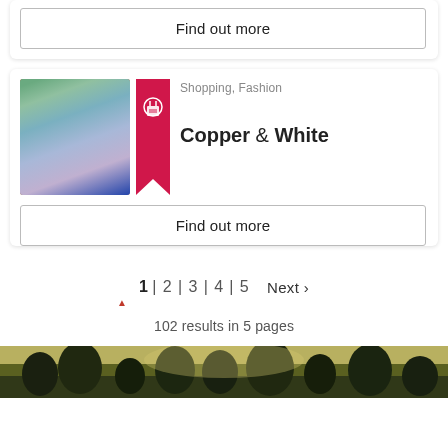Find out more
[Figure (photo): Three women standing together in front of a brick wall]
Shopping, Fashion
Copper & White
Find out more
1 | 2 | 3 | 4 | 5   Next >
102 results in 5 pages
[Figure (photo): Landscape photo with trees and sky at bottom of page]